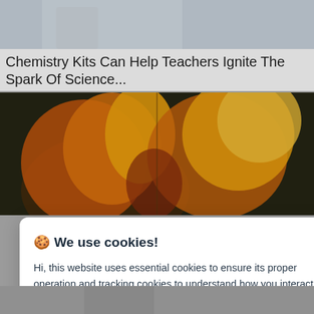[Figure (photo): Top portion of a photo showing a person in a white lab coat, partially visible]
Chemistry Kits Can Help Teachers Ignite The Spark Of Science...
[Figure (photo): Chemistry explosion photo showing orange and yellow flames/fire on a dark background]
🍪 We use cookies!
Hi, this website uses essential cookies to ensure its proper operation and tracking cookies to understand how you interact with it. The latter will be set only after consent. Let me choose
Accept all
Reject all